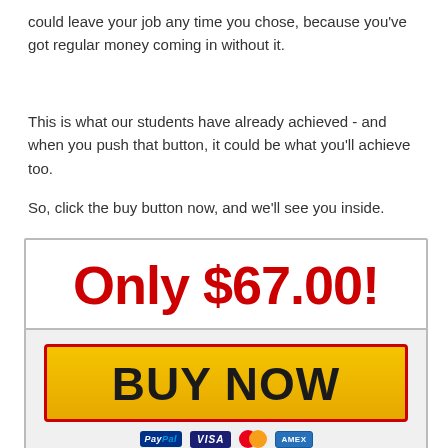could leave your job any time you chose, because you've got regular money coming in without it.
This is what our students have already achieved - and when you push that button, it could be what you'll achieve too.
So, click the buy button now, and we'll see you inside.
[Figure (infographic): Purchase box with 'Only $67.00!' price in large red bold text on white background, a yellow BUY NOW button with red border, and PayPal, VISA, Mastercard, AMEX payment icons below.]